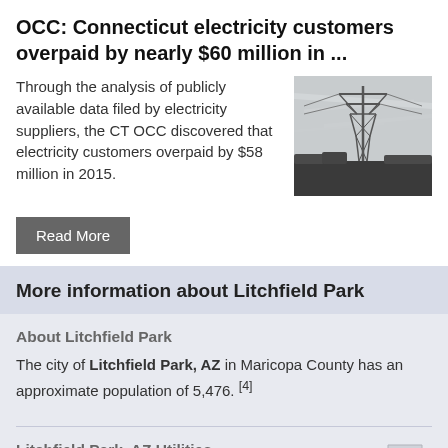OCC: Connecticut electricity customers overpaid by nearly $60 million in …
Through the analysis of publicly available data filed by electricity suppliers, the CT OCC discovered that electricity customers overpaid by $58 million in 2015.
[Figure (photo): Black and white photograph of an electricity transmission tower/pylon against a cloudy sky with a flat landscape in the background.]
Read More
More information about Litchfield Park
About Litchfield Park
The city of Litchfield Park, AZ in Maricopa County has an approximate population of 5,476. [4]
Litchfield Park, AZ Utilities
To learn more about utility rates & usage in
[Figure (illustration): Small greyed-out outline map of the state of Arizona.]